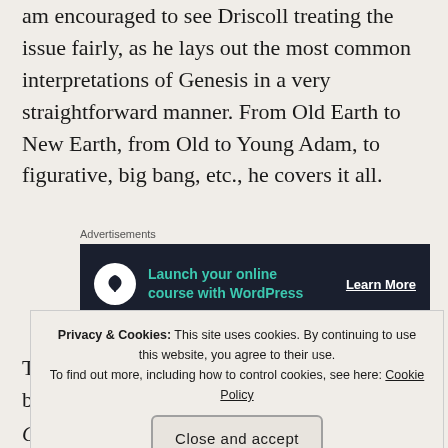am encouraged to see Driscoll treating the issue fairly, as he lays out the most common interpretations of Genesis in a very straightforward manner. From Old Earth to New Earth, from Old to Young Adam, to figurative, big bang, etc., he covers it all.
[Figure (other): Advertisement banner: dark navy background with tree/bonsai icon in white circle, teal text 'Launch your online course with WordPress', white 'Learn More' link]
Privacy & Cookies: This site uses cookies. By continuing to use this website, you agree to their use. To find out more, including how to control cookies, see here: Cookie Policy
Close and accept
Genesis, God's inspired and inerrant